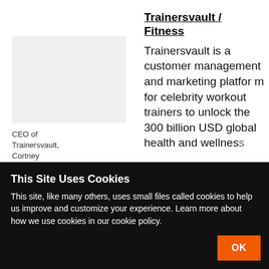[Figure (photo): Photo placeholder of CEO Cortney Woodruff]
CEO of Trainersvault, Cortney Woodruff
Trainersvault / Fitness
Trainersvault is a customer management and marketing platform for celebrity workout trainers to unlock the 300 billion USD global health and wellness
This Site Uses Cookies
This site, like many others, uses small files called cookies to help us improve and customize your experience. Learn more about how we use cookies in our cookie policy.
OK